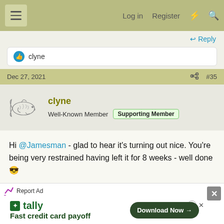≡  Log in  Register  ⚡  🔍
👍 clyne
Dec 27, 2021  #35
[Figure (illustration): Fish avatar illustration (trout/salmon sketch)]
clyne
Well-Known Member  Supporting Member
Hi @Jamesman - glad to hear it's turning out nice. You're being very restrained having left it for 8 weeks - well done 😎
↩ Reply
Report Ad
✓/  tally  Fast credit card payoff  Download Now →